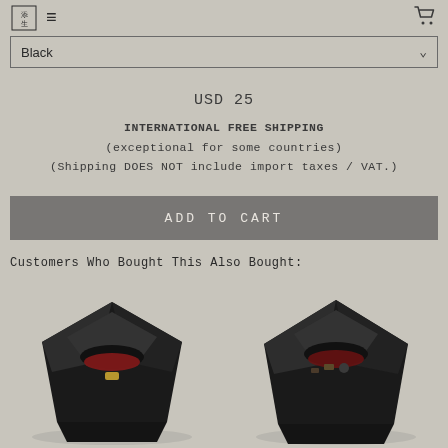[Logo] ≡  [cart icon]
Black [dropdown]
USD 25
INTERNATIONAL FREE SHIPPING
(exceptional for some countries)
(Shipping DOES NOT include import taxes / VAT.)
ADD TO CART
Customers Who Bought This Also Bought:
[Figure (photo): Two black leather origami-style bags/cases shown side by side from above-angle, one open showing red interior and brass hardware, both on a beige-grey background.]